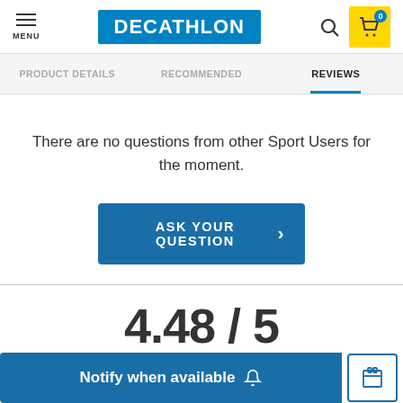MENU | DECATHLON | Search | Cart 0
PRODUCT DETAILS | RECOMMENDED | REVIEWS
There are no questions from other Sport Users for the moment.
ASK YOUR QUESTION
4.48 / 5
Notify when available